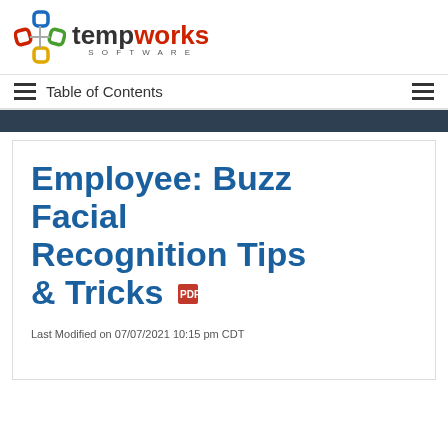[Figure (logo): Tempworks Software logo with colorful geometric shapes and company name]
Table of Contents
Employee: Buzz Facial Recognition Tips & Tricks
Last Modified on 07/07/2021 10:15 pm CDT